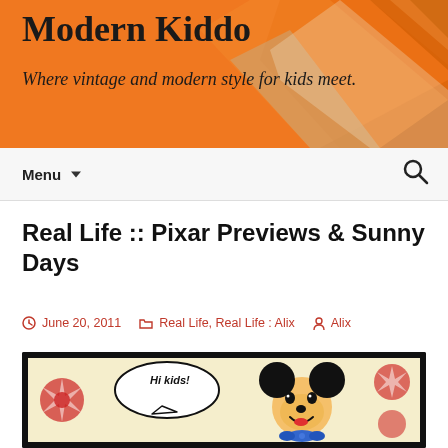Modern Kiddo — Where vintage and modern style for kids meet.
Real Life :: Pixar Previews & Sunny Days
June 20, 2011  Real Life, Real Life : Alix  Alix
[Figure (photo): Photo of Mickey Mouse illustration with speech bubble saying 'Hi kids!' against a red and white patterned background]